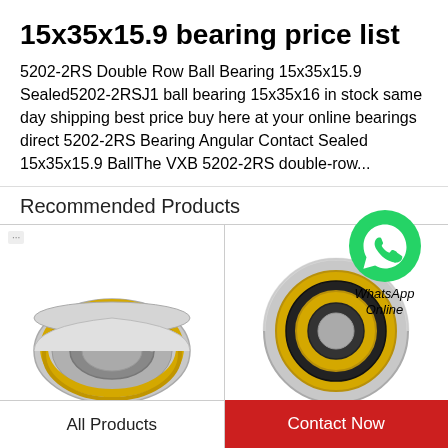15x35x15.9 bearing price list
5202-2RS Double Row Ball Bearing 15x35x15.9 Sealed5202-2RSJ1 ball bearing 15x35x16 in stock same day shipping best price buy here at your online bearings direct 5202-2RS Bearing Angular Contact Sealed 15x35x15.9 BallThe VXB 5202-2RS double-row...
Recommended Products
[Figure (photo): Photo of a double-row ball bearing, silver and gold colored, viewed at an angle]
[Figure (photo): Photo of a sealed angular contact ball bearing, gold and black colored, viewed from the front]
[Figure (logo): WhatsApp green circle icon with phone handset, labeled WhatsApp Online]
All Products
Contact Now